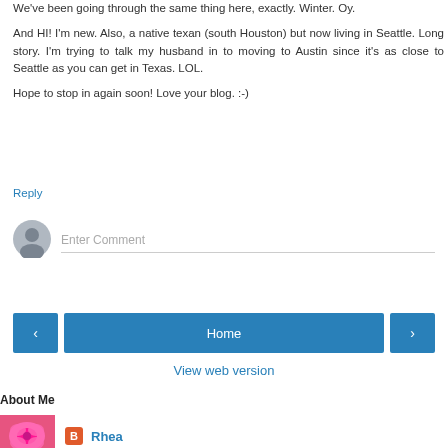We've been going through the same thing here, exactly. Winter. Oy.
And HI! I'm new. Also, a native texan (south Houston) but now living in Seattle. Long story. I'm trying to talk my husband in to moving to Austin since it's as close to Seattle as you can get in Texas. LOL.
Hope to stop in again soon! Love your blog. :-)
Reply
[Figure (other): Comment input field with user avatar icon placeholder]
[Figure (other): Navigation buttons: left arrow, Home button, right arrow]
View web version
About Me
[Figure (photo): Pink flower photo thumbnail]
Rhea